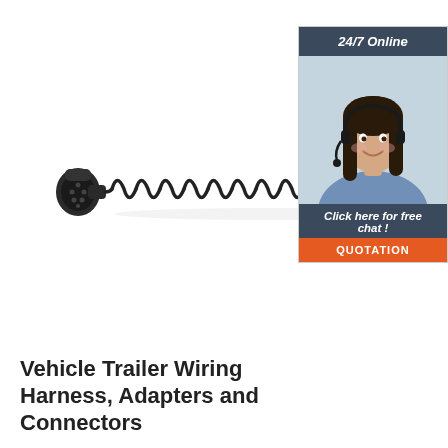[Figure (photo): A black coiled/spiral cable with a 7-pin round connector plug on the left end. The coiled cable stretches horizontally across most of the image width against a white background.]
[Figure (infographic): A customer service chat widget with dark blue header reading '24/7 Online', a photo of a smiling woman with a headset, a dark blue section reading 'Click here for free chat!', and an orange button reading 'QUOTATION'.]
Vehicle Trailer Wiring Harness, Adapters and Connectors